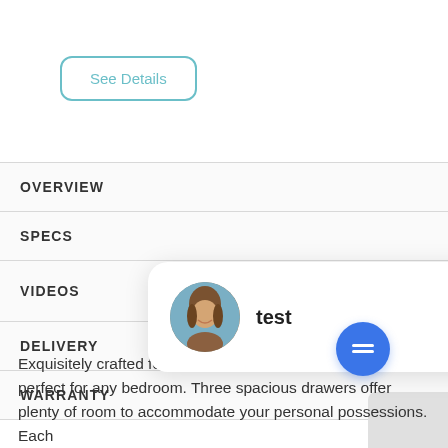See Details
OVERVIEW
SPECS
VIDEOS
DELIVERY
WARRANTY
[Figure (screenshot): Chat popup with a woman avatar photo and the word 'test', with a blue chat FAB button below]
Exquisitely crafted for style and versatility, t nightstand is perfect for any bedroom. Three spacious drawers offer plenty of room to accommodate your personal possessions. Each